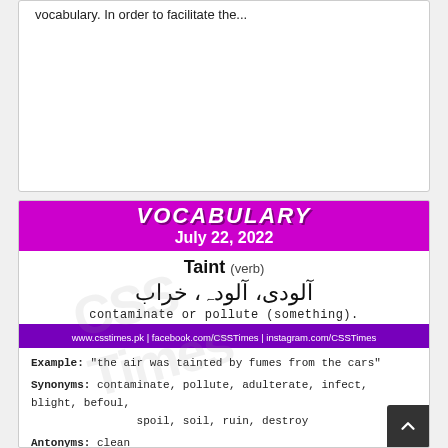vocabulary. In order to facilitate the...
[Figure (infographic): CSS Times Vocabulary card for July 22, 2022. Word: Taint (verb). Urdu: آلودی، آلودہ، خراب. Meaning: contaminate or pollute (something). Example: 'the air was tainted by fumes from the cars'. Synonyms: contaminate, pollute, adulterate, infect, blight, befoul, spoil, soil, ruin, destroy. Antonyms: clean.]
VOCABULARY July 22, 2022
Taint (verb)
آلودی، آلودہ، خراب
contaminate or pollute (something).
www.csstimes.pk | facebook.com/CSSTimes | instagram.com/CSSTimes
Example: "the air was tainted by fumes from the cars"
Synonyms: contaminate, pollute, adulterate, infect, blight, befoul, spoil, soil, ruin, destroy
Antonyms: clean